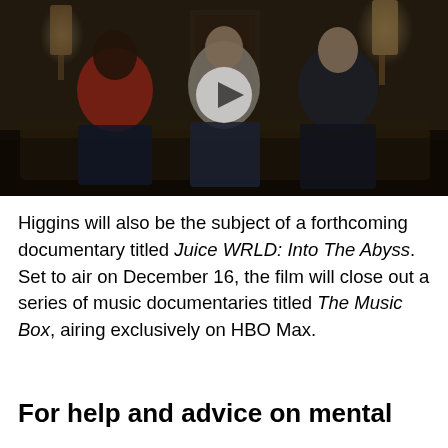[Figure (screenshot): Video thumbnail showing three young male actors/subjects sitting on a couch in a dimly lit room with lamps in background. A white play button circle is overlaid in the center.]
Higgins will also be the subject of a forthcoming documentary titled Juice WRLD: Into The Abyss. Set to air on December 16, the film will close out a series of music documentaries titled The Music Box, airing exclusively on HBO Max.
For help and advice on mental